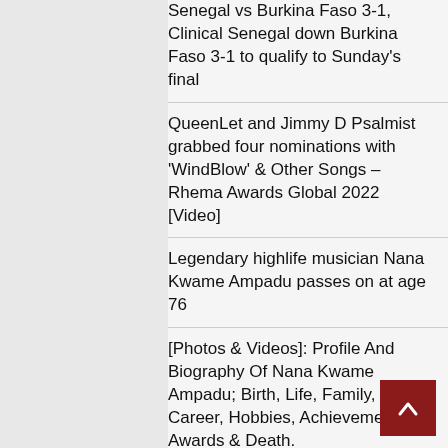Senegal vs Burkina Faso 3-1, Clinical Senegal down Burkina Faso 3-1 to qualify to Sunday's final
QueenLet and Jimmy D Psalmist grabbed four nominations with 'WindBlow' & Other Songs – Rhema Awards Global 2022 [Video]
Legendary highlife musician Nana Kwame Ampadu passes on at age 76
[Photos & Videos]: Profile And Biography Of Nana Kwame Ampadu; Birth, Life, Family, Career, Hobbies, Achievements, Awards & Death.